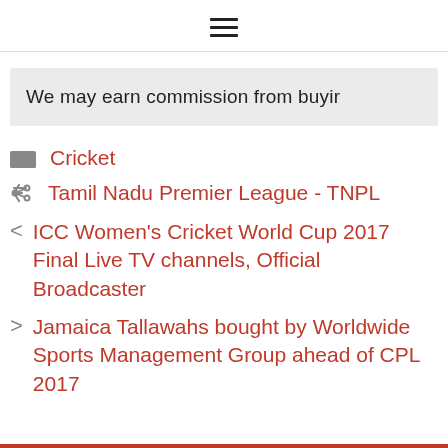≡ (hamburger menu icon)
We may earn commission from buyir
Cricket
Tamil Nadu Premier League - TNPL
< ICC Women's Cricket World Cup 2017 Final Live TV channels, Official Broadcaster
> Jamaica Tallawahs bought by Worldwide Sports Management Group ahead of CPL 2017